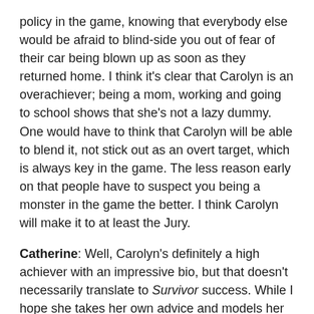policy in the game, knowing that everybody else would be afraid to blind-side you out of fear of their car being blown up as soon as they returned home. I think it's clear that Carolyn is an overachiever; being a mom, working and going to school shows that she's not a lazy dummy. One would have to think that Carolyn will be able to blend it, not stick out as an overt target, which is always key in the game. The less reason early on that people have to suspect you being a monster in the game the better. I think Carolyn will make it to at least the Jury.
Catherine: Well, Carolyn's definitely a high achiever with an impressive bio, but that doesn't necessarily translate to Survivor success. While I hope she takes her own advice and models her gameplay on Denise's game, I think that she is more likely to take on either the maternal role or attempt to take on a leadership role. Both \will not lead to success in the game — take on the role of the mother, and you are likely to get no votes at Final Tribal Council. Take the leadership role, and you are going to annoy people and become an early boot. Her interviews indicate that she has